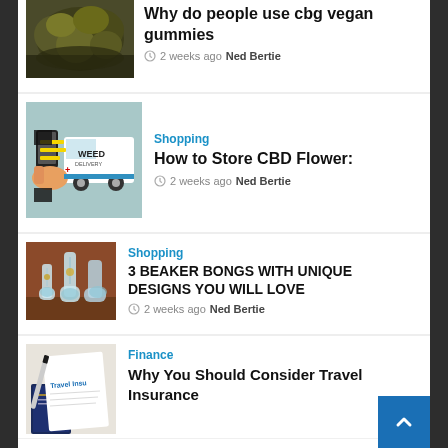[Figure (photo): Close-up photo of cannabis buds on dark background]
Why do people use cbg vegan gummies
2 weeks ago  Ned Bertie
[Figure (illustration): Illustration of weed delivery van with hand holding phone]
Shopping
How to Store CBD Flower:
2 weeks ago  Ned Bertie
[Figure (photo): Photo of glass bongs/pipes on wooden surface]
Shopping
3 BEAKER BONGS WITH UNIQUE DESIGNS YOU WILL LOVE
2 weeks ago  Ned Bertie
[Figure (photo): Photo of travel insurance documents and passport]
Finance
Why You Should Consider Travel Insurance